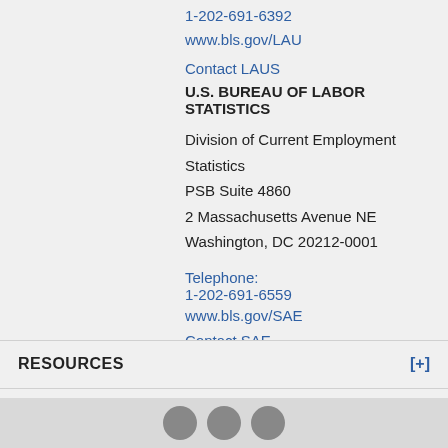1-202-691-6392
www.bls.gov/LAU
Contact LAUS
U.S. BUREAU OF LABOR STATISTICS
Division of Current Employment Statistics
PSB Suite 4860
2 Massachusetts Avenue NE
Washington, DC 20212-0001
Telephone:
1-202-691-6559
www.bls.gov/SAE
Contact SAE
RESOURCES
ABOUT THE SITE